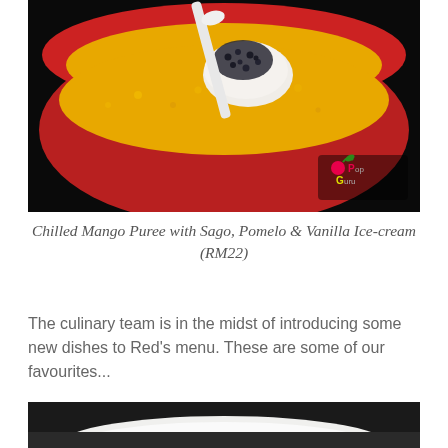[Figure (photo): A red bowl containing chilled mango puree with sago pearls, pomelo and a scoop of vanilla ice-cream, with a white spoon. A watermark logo in the bottom-right corner reads 'PopGuru'.]
Chilled Mango Puree with Sago, Pomelo & Vanilla Ice-cream (RM22)
The culinary team is in the midst of introducing some new dishes to Red's menu. These are some of our favourites...
[Figure (photo): Bottom portion of a second food photo, showing a white bowl or plate on a dark surface, partially visible.]